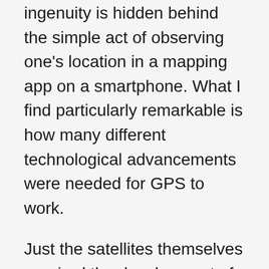ingenuity is hidden behind the simple act of observing one's location in a mapping app on a smartphone. What I find particularly remarkable is how many different technological advancements were needed for GPS to work.
Just the satellites themselves required the development of rockets, mastery of orbital controls, and manufacturing prowess to build devices capable of withstanding the extremes of space.
Precise time tracking was made possible by the invention of an atomic clock, while advancements in radio transmission and clever